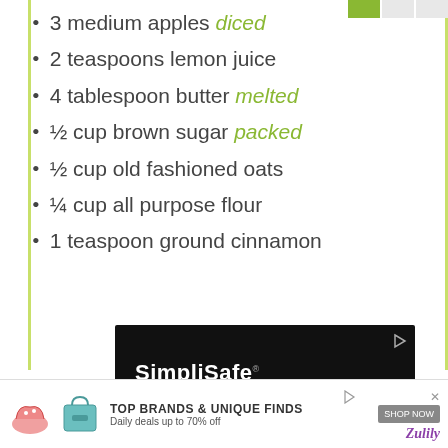3 medium apples diced
2 teaspoons lemon juice
4 tablespoon butter melted
½ cup brown sugar packed
½ cup old fashioned oats
¼ cup all purpose flour
1 teaspoon ground cinnamon
[Figure (screenshot): SimpliSafe advertisement: black background with camera image, text reads 'SimpliSafe - The Best Home Security of 2022 - U.S. News & World Report']
[Figure (screenshot): Bottom banner ad: TOP BRANDS & UNIQUE FINDS - Daily deals up to 70% off - Zulily]